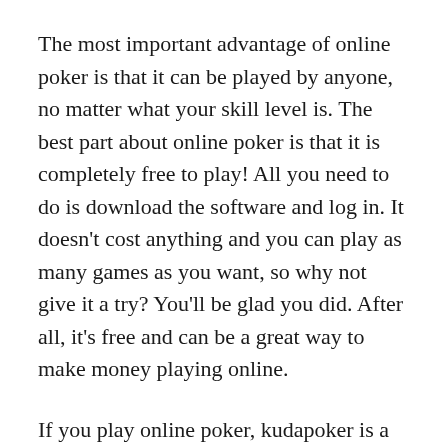The most important advantage of online poker is that it can be played by anyone, no matter what your skill level is. The best part about online poker is that it is completely free to play! All you need to do is download the software and log in. It doesn’t cost anything and you can play as many games as you want, so why not give it a try? You’ll be glad you did. After all, it’s free and can be a great way to make money playing online.
If you play online poker, kudapoker is a great way to bermain poker from your smartphone. You can download the poker app from the website and login to play. The app works with